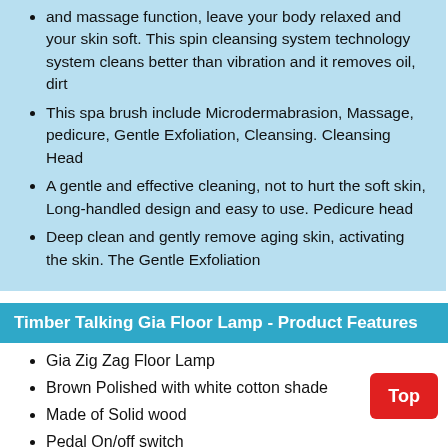and massage function, leave your body relaxed and your skin soft. This spin cleansing system technology system cleans better than vibration and it removes oil, dirt
This spa brush include Microdermabrasion, Massage, pedicure, Gentle Exfoliation, Cleansing. Cleansing Head
A gentle and effective cleaning, not to hurt the soft skin, Long-handled design and easy to use. Pedicure head
Deep clean and gently remove aging skin, activating the skin. The Gentle Exfoliation
Timber Talking Gia Floor Lamp - Product Features
Gia Zig Zag Floor Lamp
Brown Polished with white cotton shade
Made of Solid wood
Pedal On/off switch